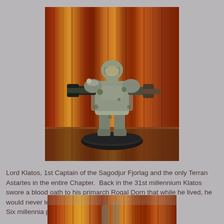[Figure (photo): A painted Warhammer 40K miniature figure of Lord Klatos in grey-green power armor with weapons on both arms, standing on a black round base, photographed against a wooden background.]
Lord Klatos, 1st Captain of the Sagodjur Fjorlag and the only Terran Astartes in the entire Chapter.  Back in the 31st millennium Klatos swore a blood oath to his primarch Rogal Dorn that while he lived, he would never let the foundling warband fall.
Six millennia passed...
[Figure (photo): Partial view of another painted Warhammer 40K miniature figure against a similar wooden background, only the lower portion visible.]